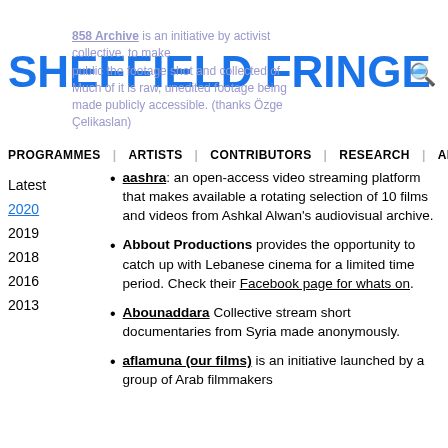SHEFFIELD FRINGE
858 Archive is an initiative by activist collective, to make public the footage shot and collected of Much of it is raw, unedited footage being made publicly accessible. (thanks Özge Çelikaslan)
PROGRAMMES  ARTISTS  CONTRIBUTORS  RESEARCH  ABOUT
Latest
2020
2019
2018
2016
2013
aashra: an open-access video streaming platform that makes available a rotating selection of 10 films and videos from Ashkal Alwan's audiovisual archive.
Abbout Productions provides the opportunity to catch up with Lebanese cinema for a limited time period. Check their Facebook page for whats on.
Abounaddara Collective stream short documentaries from Syria made anonymously.
aflamuna (our films) is an initiative launched by a group of Arab filmmakers